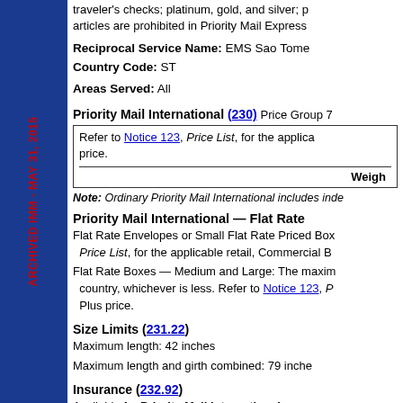traveler's checks; platinum, gold, and silver; articles are prohibited in Priority Mail Express
Reciprocal Service Name: EMS Sao Tome Country Code: ST
Areas Served: All
Priority Mail International (230) Price Group 7
Refer to Notice 123, Price List, for the applicable price.
| Weigh |
| --- |
Note: Ordinary Priority Mail International includes inde
Priority Mail International — Flat Rate
Flat Rate Envelopes or Small Flat Rate Priced Box: Price List, for the applicable retail, Commercial B
Flat Rate Boxes — Medium and Large: The maximum country, whichever is less. Refer to Notice 123, Plus price.
Size Limits (231.22)
Maximum length: 42 inches
Maximum length and girth combined: 79 inche
Insurance (232.92)
Available for Priority Mail International merc
See Exhibit 322.2 for individual country merc for the fee schedule for Priority Mail Internatio